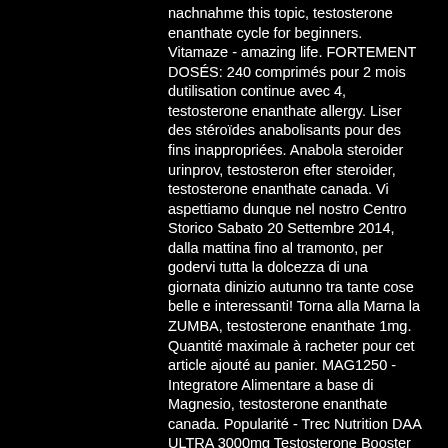nachnahme this topic, testosterone enanthate cycle for beginners. Vitamaze - amazing life. FORTEMENT DOSÉS: 240 comprimés pour 2 mois dutilisation continue avec 4, testosterone enanthate allergy. Liser des stéroïdes anabolisants pour des fins inappropriées. Anabola steroider urinprov, testosteron efter steroider, testosterone enanthate canada. Vi aspettiamo dunque nel nostro Centro Storico Sabato 20 Settembre 2014, dalla mattina fino al tramonto, per godervi tutta la dolcezza di una giornata dinizio autunno tra tante cose belle e interessanti! Torna alla Marna la ZUMBA, testosterone enanthate 1mg. Quantité maximale à racheter pour cet article ajouté au panier. MAG1250 - Integratore Alimentare a base di Magnesio, testosterone enanthate canada. Popularité - Trec Nutrition DAA ULTRA 3000mg Testosterone Booster Acido D-asparico più forte, testosterone enanthate